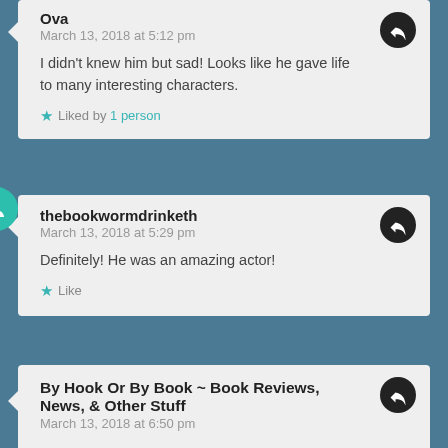Ova
March 13, 2018 at 5:12 pm
I didn't knew him but sad! Looks like he gave life to many interesting characters.
Liked by 1 person
thebookwormdrinketh
March 13, 2018 at 5:29 pm
Definitely! He was an amazing actor!
Like
By Hook Or By Book ~ Book Reviews, News, & Other Stuff
March 13, 2018 at 6:50 pm